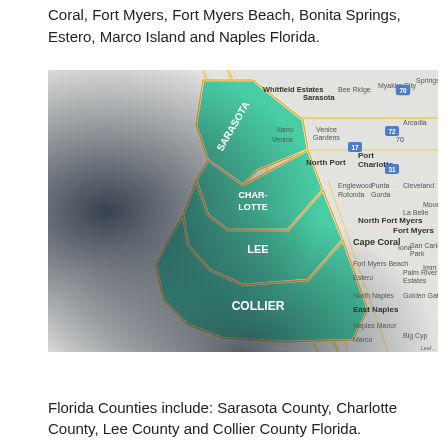Coral, Fort Myers, Fort Myers Beach, Bonita Springs, Estero, Marco Island and Naples Florida.
[Figure (map): A map of Southwest Florida showing highlighted green counties (Sarasota, Charlotte, Lee, Collier) overlaid on a Google Maps-style road map showing cities including Sarasota, North Port, Port Charlotte, Cape Coral, Fort Myers, Naples and surrounding areas.]
Florida Counties include: Sarasota County, Charlotte County, Lee County and Collier County Florida.